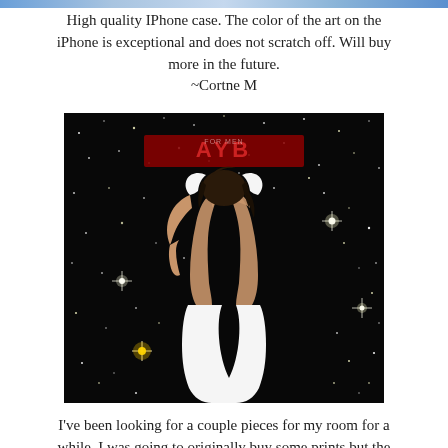High quality IPhone case. The color of the art on the iPhone is exceptional and does not scratch off. Will buy more in the future. ~Cortne M
[Figure (photo): Woman in a white backless dress posed against a sparkling bokeh galaxy/stars background with 'AYB' text visible in red at the top center]
I've been looking for a couple pieces for my room for a while, I was going to originally buy some prints but the canvas